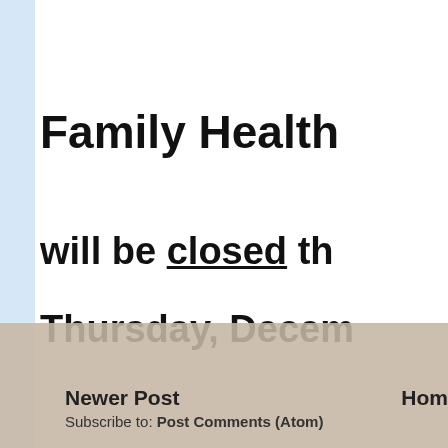Family Health
will be closed th
Thursday, Decem
Sorry for any inc
Newer Post   Home
Subscribe to: Post Comments (Atom)